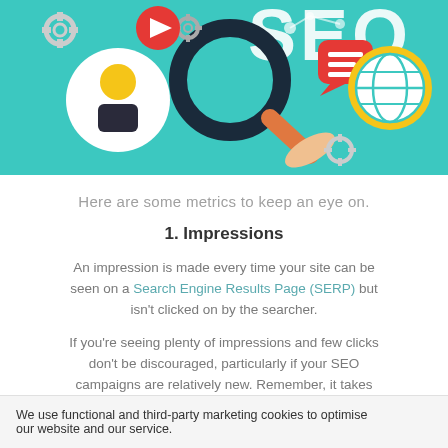[Figure (illustration): SEO themed illustration with teal background showing a magnifying glass with the letters SEO, a person icon, gear icons, a speech bubble with lines, a globe icon, and colorful decorative elements]
Here are some metrics to keep an eye on.
1. Impressions
An impression is made every time your site can be seen on a Search Engine Results Page (SERP) but isn't clicked on by the searcher.
If you're seeing plenty of impressions and few clicks don't be discouraged, particularly if your SEO campaigns are relatively new. Remember, it takes time before your site will appear on the first page
We use functional and third-party marketing cookies to optimise our website and our service.